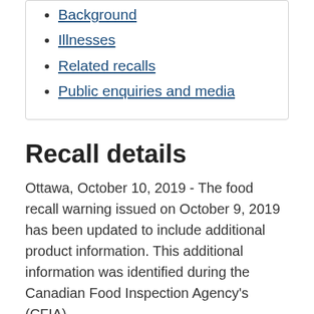Background
Illnesses
Related recalls
Public enquiries and media
Recall details
Ottawa, October 10, 2019 - The food recall warning issued on October 9, 2019 has been updated to include additional product information. This additional information was identified during the Canadian Food Inspection Agency's (CFIA)